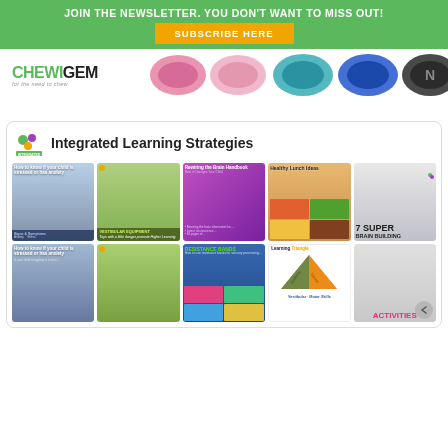JOIN THE NEWSLETTER. YOU DON'T WANT TO MISS OUT!
SUBSCRIBE HERE
[Figure (logo): ChewigGem logo and product image showing colorful chewable discs]
[Figure (screenshot): Integrated Learning Strategies Pinterest board showing educational pins about child development, vestibular equipment, resistance bands, learning triangle, healthy lunch ideas, brain activities, and anxiety/stress in children]
Integrated Learning Strategies